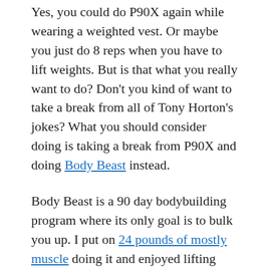Yes, you could do P90X again while wearing a weighted vest. Or maybe you just do 8 reps when you have to lift weights. But is that what you really want to do? Don't you kind of want to take a break from all of Tony Horton's jokes? What you should consider doing is taking a break from P90X and doing Body Beast instead.
Body Beast is a 90 day bodybuilding program where its only goal is to bulk you up. I put on 24 pounds of mostly muscle doing it and enjoyed lifting weights over all the crazy moves you do with P90X.
My body enjoyed the break too. Less wear and tear on the joints. Lots of simple moves where you challenge your body to lift as much as you can with